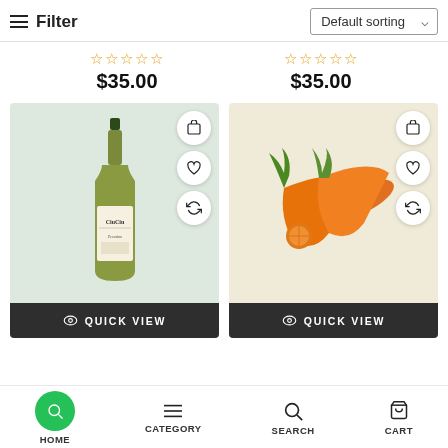Filter | Default sorting
☆☆☆☆☆  $35.00   ☆☆☆☆☆  $35.00
[Figure (screenshot): Product card showing a wine bottle (CiuCiu Pecorino) on a light green background with cart, heart, and refresh action buttons, and a dark QUICK VIEW bar]
[Figure (screenshot): Product card showing fresh carrots on a cream/beige background with cart, heart, and refresh action buttons, and a dark QUICK VIEW bar]
HOME  CATEGORY  SEARCH  CART